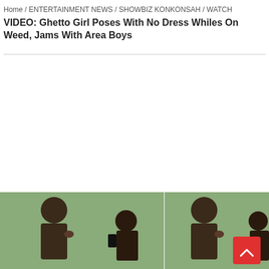Home / ENTERTAINMENT NEWS / SHOWBIZ KONKONSAH / WATCH VIDEO: Ghetto Girl Poses With No Dress Whiles On Weed, Jams With Area Boys
[Figure (photo): Two side-by-side video thumbnail screenshots showing a person in a dimly lit room with a green wall background. A red back-to-top button with an upward chevron arrow is visible in the bottom-right corner.]